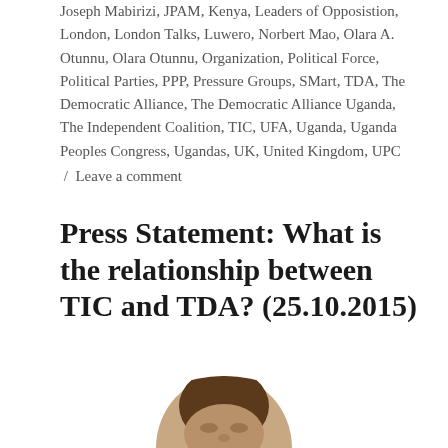Joseph Mabirizi, JPAM, Kenya, Leaders of Opposistion, London, London Talks, Luwero, Norbert Mao, Olara A. Otunnu, Olara Otunnu, Organization, Political Force, Political Parties, PPP, Pressure Groups, SMart, TDA, The Democratic Alliance, The Democratic Alliance Uganda, The Independent Coalition, TIC, UFA, Uganda, Uganda Peoples Congress, Ugandas, UK, United Kingdom, UPC
/ Leave a comment
Press Statement: What is the relationship between TIC and TDA? (25.10.2015)
[Figure (photo): Partial photograph of a person's head (top of head/face visible, cropped at bottom of page)]